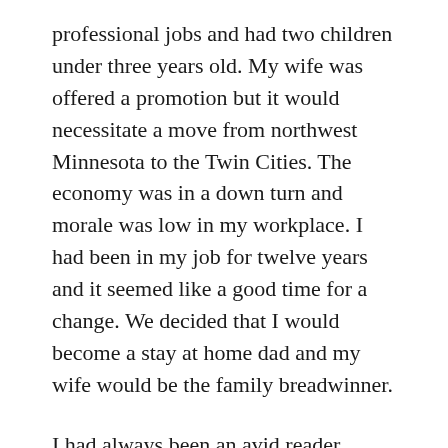professional jobs and had two children under three years old. My wife was offered a promotion but it would necessitate a move from northwest Minnesota to the Twin Cities. The economy was in a down turn and morale was low in my workplace. I had been in my job for twelve years and it seemed like a good time for a change. We decided that I would become a stay at home dad and my wife would be the family breadwinner.
I had always been an avid reader. Now, with time to burn and two toddlers to entertain, one of our favorite family activities was going to the library. Settled in our new home in Shoreview we regularly drove to one of the Ramsey County